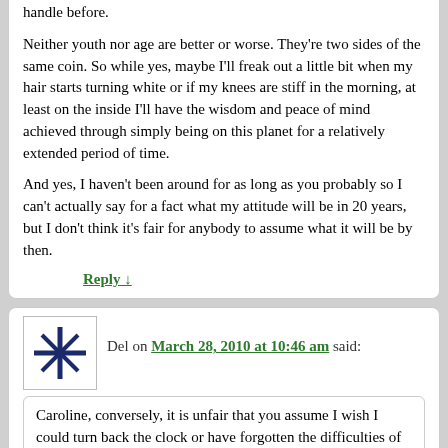handle before.
Neither youth nor age are better or worse. They're two sides of the same coin. So while yes, maybe I'll freak out a little bit when my hair starts turning white or if my knees are stiff in the morning, at least on the inside I'll have the wisdom and peace of mind achieved through simply being on this planet for a relatively extended period of time.
And yes, I haven't been around for as long as you probably so I can't actually say for a fact what my attitude will be in 20 years, but I don't think it's fair for anybody to assume what it will be by then.
Reply ↓
Del on March 28, 2010 at 10:46 am said:
Caroline, conversely, it is unfair that you assume I wish I could turn back the clock or have forgotten the difficulties of youth. Sun conjunct Saturn in the 1st here. Moving up and out of adolescence and aging are two completely different things. I speak from experience and stand by my comment. Have a beautiful day.
Reply ↓